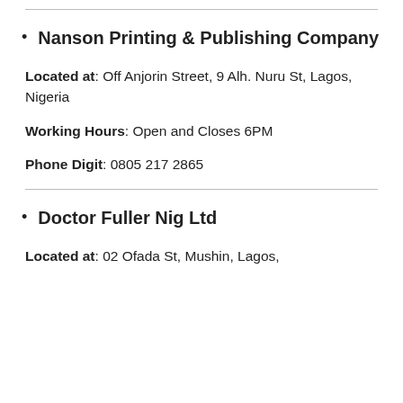Nanson Printing & Publishing Company
Located at: Off Anjorin Street, 9 Alh. Nuru St, Lagos, Nigeria
Working Hours: Open and Closes 6PM
Phone Digit: 0805 217 2865
Doctor Fuller Nig Ltd
Located at: 02 Ofada St, Mushin, Lagos,